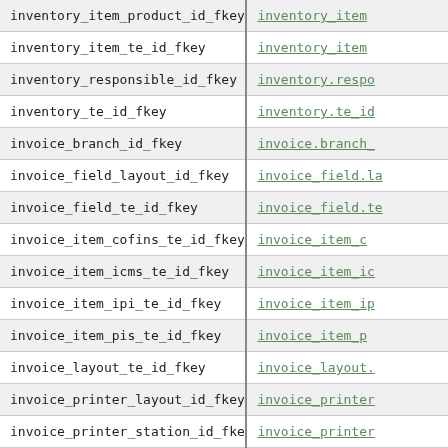| constraint_name | reference |
| --- | --- |
| inventory_item_product_id_fkey | inventory_item... |
| inventory_item_te_id_fkey | inventory_item... |
| inventory_responsible_id_fkey | inventory.respo... |
| inventory_te_id_fkey | inventory.te_id... |
| invoice_branch_id_fkey | invoice.branch_... |
| invoice_field_layout_id_fkey | invoice_field.la... |
| invoice_field_te_id_fkey | invoice_field.te... |
| invoice_item_cofins_te_id_fkey | invoice_item_c... |
| invoice_item_icms_te_id_fkey | invoice_item_ic... |
| invoice_item_ipi_te_id_fkey | invoice_item_ip... |
| invoice_item_pis_te_id_fkey | invoice_item_p... |
| invoice_layout_te_id_fkey | invoice_layout.... |
| invoice_printer_layout_id_fkey | invoice_printer... |
| invoice_printer_station_id_fkey | invoice_printer... |
| invoice_printer_te_id_fkey | invoice_printer... |